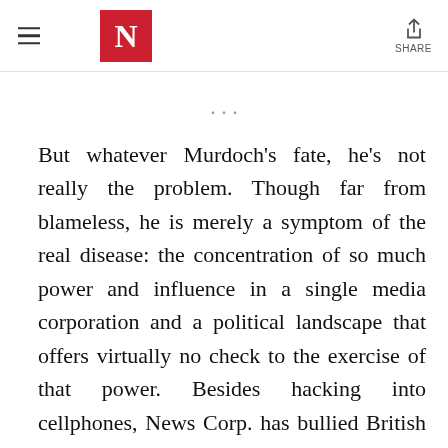N (Newsweek logo)
But whatever Murdoch's fate, he's not really the problem. Though far from blameless, he is merely a symptom of the real disease: the concentration of so much power and influence in a single media corporation and a political landscape that offers virtually no check to the exercise of that power. Besides hacking into cellphones, News Corp. has bullied British politicians across the spectrum, dropped the BBC from its Star TV satellite in Asia to curry favor with China's rulers and, through Fox News, fanned the